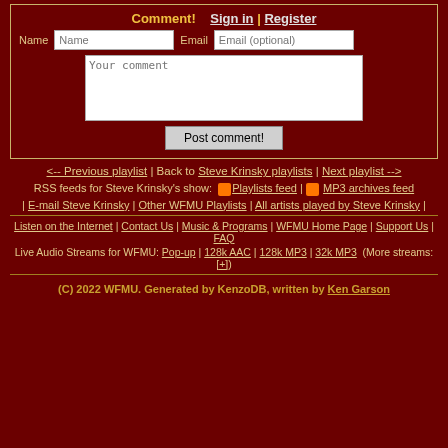Comment! Sign in | Register
Name [Name input] Email [Email (optional) input]
[Your comment textarea]
Post comment!
<-- Previous playlist | Back to Steve Krinsky playlists | Next playlist -->
RSS feeds for Steve Krinsky's show: [RSS icon] Playlists feed | [RSS icon] MP3 archives feed
| E-mail Steve Krinsky | Other WFMU Playlists | All artists played by Steve Krinsky |
Listen on the Internet | Contact Us | Music & Programs | WFMU Home Page | Support Us | FAQ
Live Audio Streams for WFMU: Pop-up | 128k AAC | 128k MP3 | 32k MP3  (More streams: [+])
(C) 2022 WFMU. Generated by KenzoDB, written by Ken Garson